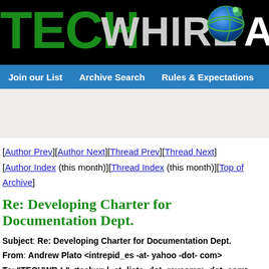[Figure (logo): TechWhirl Archive logo on black background with green TECH text, gray WHIRL text, globe icon, and white Ar text]
Join our List   Archive Search   Rules & Expectations   FAQs   Ab
[Author Prev][Author Next][Thread Prev][Thread Next]
[Author Index (this month)][Thread Index (this month)][Top of Archive]
Re: Developing Charter for Documentation Dept.
Subject: Re: Developing Charter for Documentation Dept.
From: Andrew Plato <intrepid_es -at- yahoo -dot- com>
To: "TECHWR-L" <techwr-l -at- lists -dot- raycomm -dot- com>
Date: Wed, 26 Sep 2001 23:06:22 -0700 (PDT)
>> Our boss just met with us and asked
>> us to develop a Charter for our documentation group.

> "Technical communication professionals help customers
> and employees solve learning, knowledge management,